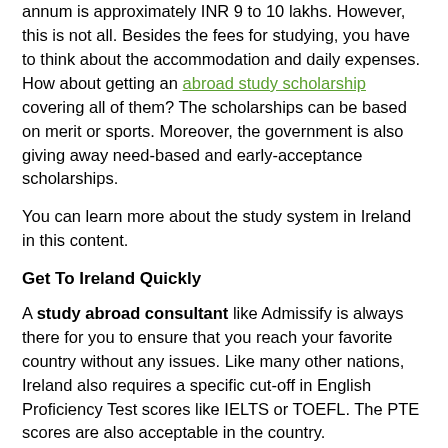annum is approximately INR 9 to 10 lakhs. However, this is not all. Besides the fees for studying, you have to think about the accommodation and daily expenses. How about getting an abroad study scholarship covering all of them? The scholarships can be based on merit or sports. Moreover, the government is also giving away need-based and early-acceptance scholarships.
You can learn more about the study system in Ireland in this content.
Get To Ireland Quickly
A study abroad consultant like Admissify is always there for you to ensure that you reach your favorite country without any issues. Like many other nations, Ireland also requires a specific cut-off in English Proficiency Test scores like IELTS or TOEFL. The PTE scores are also acceptable in the country.
Normally, courses like Medicines or Business-related subjects will cost more than other subjects in Ireland. You can get the rate structure from the best Ireland consultants in Delhi. The average amount to study masters and Ph.D. courses will start from 3000 Euro. It is equivalent to more than 2.5lakhs in the Indian currency.